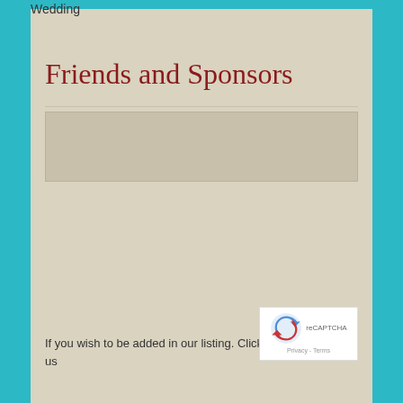Wedding
Friends and Sponsors
If you wish to be added in our listing. Click here to contact us